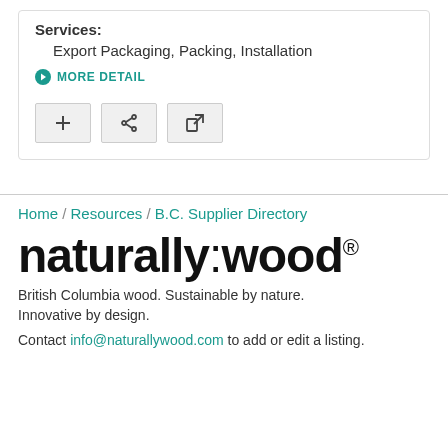Services:
Export Packaging, Packing, Installation
MORE DETAIL
[Figure (other): Three icon buttons: plus, share, and external link]
Home / Resources / B.C. Supplier Directory
[Figure (logo): naturally:wood® logo in large bold black text]
British Columbia wood. Sustainable by nature. Innovative by design.
Contact info@naturallywood.com to add or edit a listing.